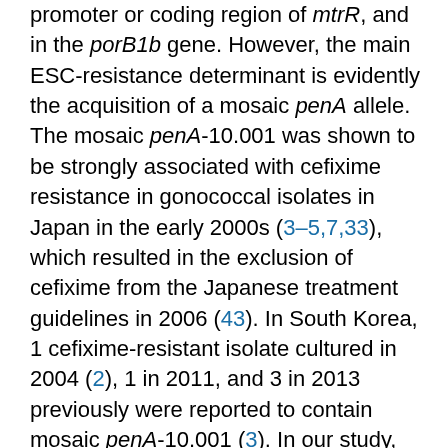promoter or coding region of mtrR, and in the porB1b gene. However, the main ESC-resistance determinant is evidently the acquisition of a mosaic penA allele. The mosaic penA-10.001 was shown to be strongly associated with cefixime resistance in gonococcal isolates in Japan in the early 2000s (3–5,7,33), which resulted in the exclusion of cefixime from the Japanese treatment guidelines in 2006 (43). In South Korea, 1 cefixime-resistant isolate cultured in 2004 (2), 1 in 2011, and 3 in 2013 previously were reported to contain mosaic penA-10.001 (3). In our study, 1.1% (n = 5) of N. gonorrhoeae–positive NAAT specimens contained a mosaic penA allele in 2012. This proportion increased significantly in 2017 to 23.9% (n = 215; p<0.05). The proportion of mosaic penA-positive specimens (n = 209) containing mosaic penA-10.001 was 100% (n = 5) in 2012 and >90% during all the following years, except 2013 (77.8%; 21/27).